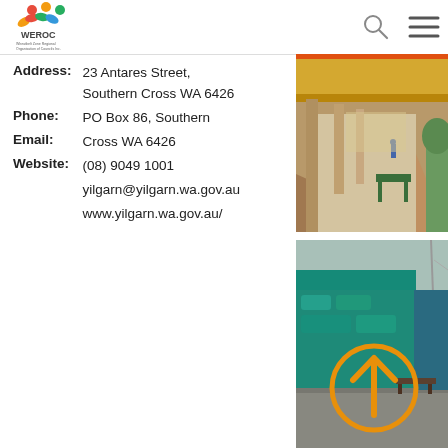WEROC
Address: 23 Antares Street, Southern Cross WA 6426
Phone: PO Box 86, Southern
Email: Cross WA 6426
Website: (08) 9049 1001
yilgarn@yilgarn.wa.gov.au
www.yilgarn.wa.gov.au/
[Figure (photo): Covered walkway/verandah along a street in Southern Cross WA, with green benches visible]
[Figure (photo): Streetscape with teal/green building facade, with an orange upward arrow circle overlay]